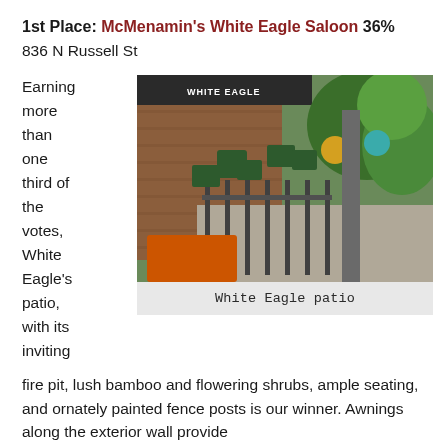1st Place: McMenamin's White Eagle Saloon 36%
836 N Russell St
[Figure (photo): Outdoor patio of White Eagle Saloon showing dark green chairs and tables on a brick and concrete surface, iron fence posts, orange table in foreground, colorful decorative spheres, green foliage and trees, awning with WHITE EAGLE text.]
White Eagle patio
Earning more than one third of the votes, White Eagle's patio, with its inviting fire pit, lush bamboo and flowering shrubs, ample seating, and ornately painted fence posts is our winner. Awnings along the exterior wall provide